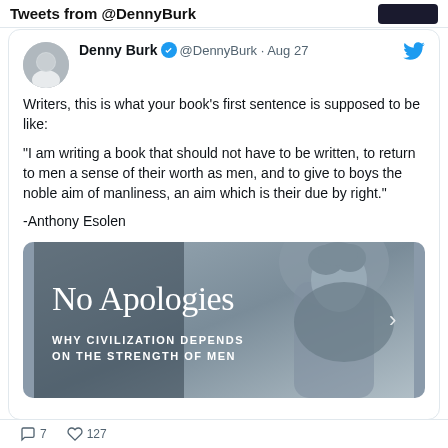Tweets from @DennyBurk
Denny Burk ✓ @DennyBurk · Aug 27
Writers, this is what your book's first sentence is supposed to be like:

"I am writing a book that should not have to be written, to return to men a sense of their worth as men, and to give to boys the noble aim of manliness, an aim which is their due by right."

-Anthony Esolen
[Figure (photo): Book cover image titled 'No Apologies: Why Civilization Depends on the Strength of Men' with a greyscale classical statue in the background.]
7  127